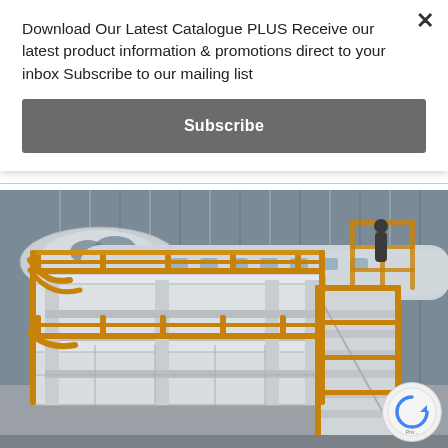Download Our Latest Catalogue PLUS Receive our latest product information & promotions direct to your inbox Subscribe to our mailing list
[Figure (other): Subscribe button — dark grey rectangular button with white bold text reading 'Subscribe']
[Figure (photo): Photograph of an aircraft maintenance platform/docking structure with orange safety railings and white structural platforms, with a commercial aircraft visible in the background inside a hangar]